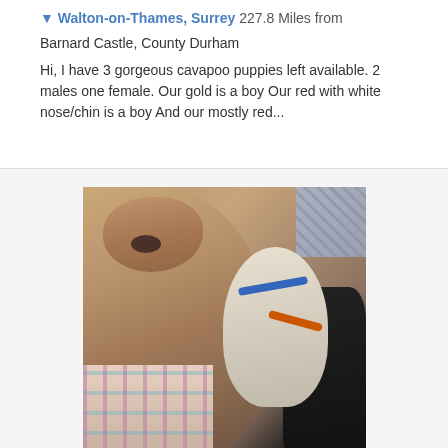▼ Walton-on-Thames, Surrey 227.8 Miles from Barnard Castle, County Durham
Hi, I have 3 gorgeous cavapoo puppies left available. 2 males one female. Our gold is a boy Our red with white nose/chin is a boy And our mostly red...
[Figure (photo): Photo of a large tan/fawn dog (likely a Mastiff or similar breed) lying down with small white puppies snuggled against it. One puppy wears a blue collar, another appears to have an orange collar. A plaid blanket is visible, and a wire crate/pen is visible in the background top-right.]